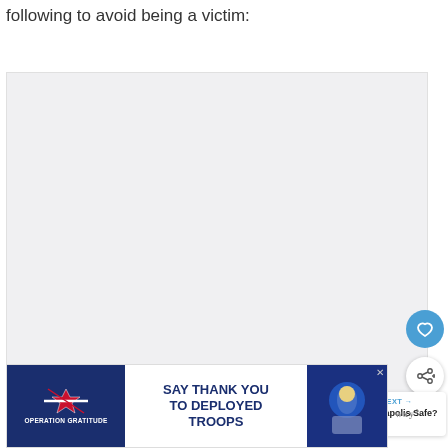following to avoid being a victim:
[Figure (other): Large empty light gray placeholder image box]
[Figure (infographic): Heart/like button (blue circle with white heart icon)]
[Figure (infographic): Share button (white circle with share icon)]
[Figure (infographic): What's Next panel showing thumbnail image and text: WHAT'S NEXT → Is Indianapolis Safe? | Trav...]
[Figure (infographic): Advertisement banner: Operation Gratitude - SAY THANK YOU TO DEPLOYED TROOPS with patriotic imagery and close button X]